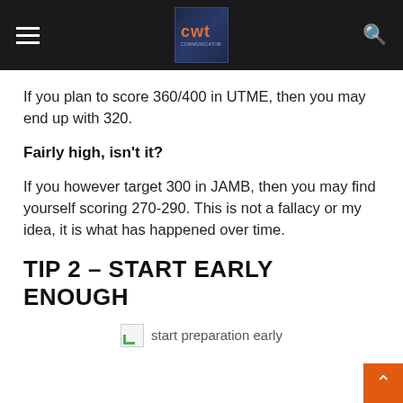CWT
If you plan to score 360/400 in UTME, then you may end up with 320.
Fairly high, isn't it?
If you however target 300 in JAMB, then you may find yourself scoring 270-290. This is not a fallacy or my idea, it is what has happened over time.
TIP 2 – START EARLY ENOUGH
[Figure (photo): Broken image placeholder with label 'start preparation early']